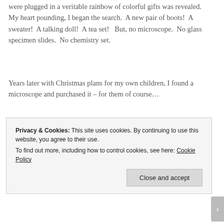were plugged in a veritable rainbow of colorful gifts was revealed.  My heart pounding, I began the search.  A new pair of boots!  A sweater!  A talking doll!  A tea set!   But, no microscope.  No glass specimen slides.  No chemistry set.
Years later with Christmas plans for my own children, I found a microscope and purchased it – for them of course…
Daily Prompt: Out of Your Reach
Privacy & Cookies: This site uses cookies. By continuing to use this website, you agree to their use.
To find out more, including how to control cookies, see here: Cookie Policy